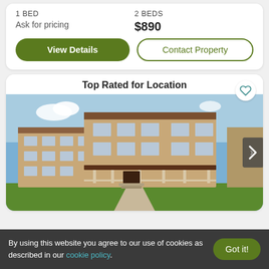1 BED | Ask for pricing | 2 BEDS | $890
View Details | Contact Property
Top Rated for Location
[Figure (photo): Exterior photo of a multi-story tan/beige apartment building with brown trim, wraparound porch, front lawn, and walkway. Blue sky in background.]
By using this website you agree to our use of cookies as described in our cookie policy. Got it!